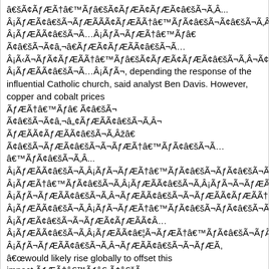â€šÃ¢ÃƒÆÃ†â€™Ãƒâ€šÃ¢ÃƒÆÃ¢ÃƒÆÃ¢Ã¢â€š¬Ã…
Â¡ÃƒÆÃ¢â€šÃ¬ÃƒÆÃÃ¢â€šÃ¬ÃƒÆÃ†â€™ÃƒÃ¢â€šÃ¬Ã…
Â¡ÃƒÆÃÃ¢â€šÃ¬Ã…Â¡ÃƒÃ¬ÃƒÆÃ†â€™Ãƒâ€ Ã¢â€šÃ¬Ã¢â‚¬â€ÃƒÆÃ¢ÃƒÆÃÃ¢â€šÃ¬Ã…Â¡Ã‹Ã¬ÃƒÃ¢â€¦Ã¡ÃƒÆÃ†â€™ÃƒÃ¢â€šÃ¬Ã…
Â¡ÃƒÆÃ¢ÃƒÆÃÃ¢â€šÃ¬Ã…
Â¡ÃƒÆÃ¢â€šÃ¬Ã¬ÃƒÆÃ¢ÃƒÆÃÃ¢â€šÃ¬Ã‚Â…
Â¡ÃƒÆÃÃ¢â€šÃ¬Ã…Â¡ÃƒÆÃ¢â€šÃ¬Ã¬ÃƒÆÃ, depending the response of the influential Catholic church, said analyst Ben Davis. However, copper and cobalt prices
ÃƒÆÃ†â€™Ãƒâ€ Ã¢â€šÃ¬ Ã¢â€šÃ¬Ã¢â‚¬â„¢ÃƒÆÃÃ¢â€šÃ¬Ã‚Â¬ ÃƒÆÃ¢ÃƒÆÃÃ¢â€šÃ¬Ã‚Âžâ€ Ã¢â€šÃ¬ÃƒÆÃ¢â€šÃ¬Ã¬ÃƒÆÃ†â€™ÃƒÃ¢â€šÃ¬Ã…
Â¡ÃƒÆÃ¢ÃƒÆÃÃ¢â€šÃ¬Ã‚Å¡ÃƒÆÃ¢â€šÃ¬Ã¬
Â¡ÃƒÆÃÃ¢â€šÃ¬Ã‚Â¡ÃƒÃ¬ÃƒÆÃ†â€™ÃƒÃ¢â€šÃ¬ÃƒÃ¢â€šÃ¬ÃƒÆÃ¢ÃƒÆÃÃ¢â€šÃ¬Ã…
Â¡ÃƒÆÃ¢â€šÃ¬Ã¬ÃƒÆÃ¢ÃƒÆÃÃ¢Â…
Â¡ÃƒÆÃÃ¢â€šÃ¬Ã‚Â¡ÃƒÆÃÃ¢â¦Ã¬ÃƒÆÃ†â€™ÃƒÃ¢â€šÃ¬ÃƒÃ¢â€šÃ¬Ã¬ÃƒÆÃ¢ÃƒÆÃÃ¢â€šÃ¬
Â¡ÃƒÃ¬ÃƒÆÃÃ¢â€šÃ¬Ã‚Â¬ÃƒÆÃÃ¢â€šÃ¬Ã¬ÃƒÆÃ, â€œwould likely rise globally to offset this impact.ÃƒÆÃ†â€™Ãƒâ€ Ã¢â€šÃ¬ Ã¢â€šÃ¬Ã¢â‚¬ÃƒÆÃÃ¢â€šÃ¬Ã‚Â¬ ÃƒÆÃ¢ÃƒÆÃÃ¢â€šÃ¬Ã‚Âžâ€ Ã¢â€šÃ¬ÃƒÆÃ¢â€šÃ¬Ã¬ÃƒÆÃ†â€™ÃƒÃ¢â€šÃ¬Ã…